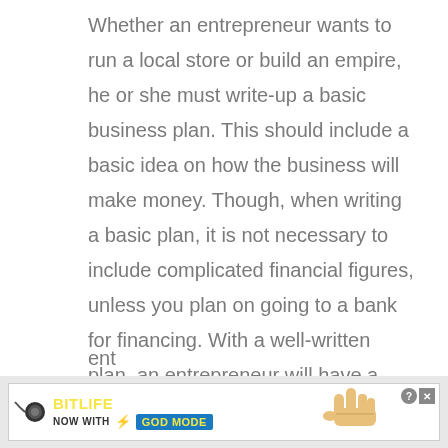Whether an entrepreneur wants to run a local store or build an empire, he or she must write-up a basic business plan. This should include a basic idea on how the business will make money. Though, when writing a basic plan, it is not necessary to include complicated financial figures, unless you plan on going to a bank for financing. With a well-written plan, an entrepreneur will have a roadmap to follow going forward. This will make things much easier as you get going. The business plan will most likely change, sometimes very dramatically as you start growing your business, but the process of getting it down on paper is more valuable than most ent...
[Figure (other): BitLife advertisement banner — 'NOW WITH GOD MODE' — with lightning bolt graphic, pointing hand illustration, help (?) and close (X) buttons]